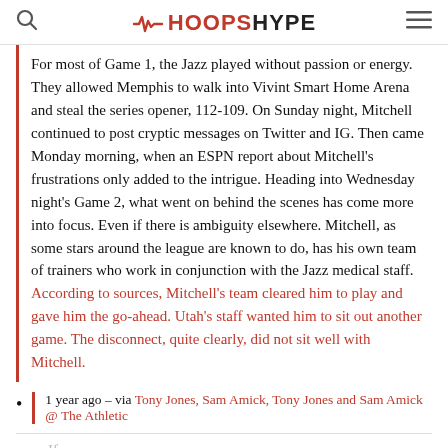HOOPSHYPE
For most of Game 1, the Jazz played without passion or energy. They allowed Memphis to walk into Vivint Smart Home Arena and steal the series opener, 112-109. On Sunday night, Mitchell continued to post cryptic messages on Twitter and IG. Then came Monday morning, when an ESPN report about Mitchell's frustrations only added to the intrigue. Heading into Wednesday night's Game 2, what went on behind the scenes has come more into focus. Even if there is ambiguity elsewhere. Mitchell, as some stars around the league are known to do, has his own team of trainers who work in conjunction with the Jazz medical staff. According to sources, Mitchell's team cleared him to play and gave him the go-ahead. Utah's staff wanted him to sit out another game. The disconnect, quite clearly, did not sit well with Mitchell.
1 year ago – via Tony Jones, Sam Amick, Tony Jones and Sam Amick @ The Athletic